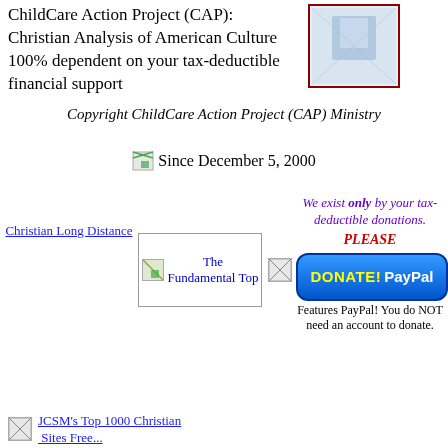ChildCare Action Project (CAP): Christian Analysis of American Culture 100% dependent on your tax-deductible financial support
[Figure (photo): Small photo/image thumbnail with dark red border, appearing to show a person or figure with blue/white tones]
Copyright ChildCare Action Project (CAP) Ministry
[Figure (other): Small broken image icon]
Since December 5, 2000
Christian Long Distance
[Figure (other): The Fundamental Top - broken image icon with blue text]
[Figure (other): Small broken image icon]
We exist only by your tax-deductible donations. PLEASE
[Figure (other): DONATE! PayPal button - blue rounded rectangle with yellow DONATE! text and white PayPal text]
Features PayPal! You do NOT need an account to donate.
JCSM's Top 1000 Christian Sites - Free Traffic Sharing Service!